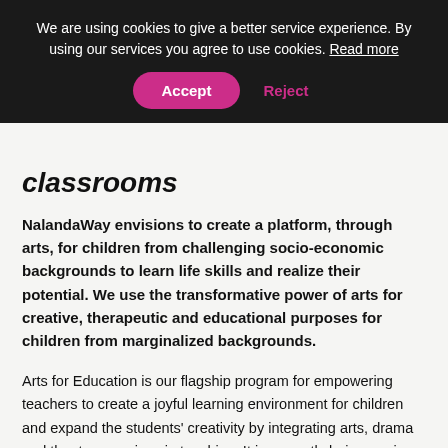We are using cookies to give a better service experience. By using our services you agree to use cookies. Read more
classrooms
NalandaWay envisions to create a platform, through arts, for children from challenging socio-economic backgrounds to learn life skills and realize their potential. We use the transformative power of arts for creative, therapeutic and educational purposes for children from marginalized backgrounds.
Arts for Education is our flagship program for empowering teachers to create a joyful learning environment for children and expand the students' creativity by integrating arts, drama and theatre exercises in teaching. It is currently being run in 131 schools with more than 1050 teachers and 34,000 children getting benefited.